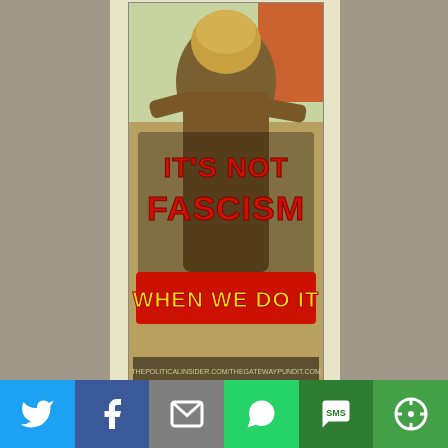[Figure (illustration): A propaganda-style meme image with large red bold text reading 'IT'S NOT FASCISM WHEN WE DO IT' overlaid on a figure. Small text at bottom of image.]
....The conspiracy theorists were correct. Now we have the proof that the Hillary Clinton campaign has sent up to 500 at a time to infiltrate Trump rallies in order to illicit responses from the less stable people In the
[Figure (infographic): Social media share bar with Twitter, Facebook, Email, WhatsApp, SMS, and More buttons at the bottom of the page.]